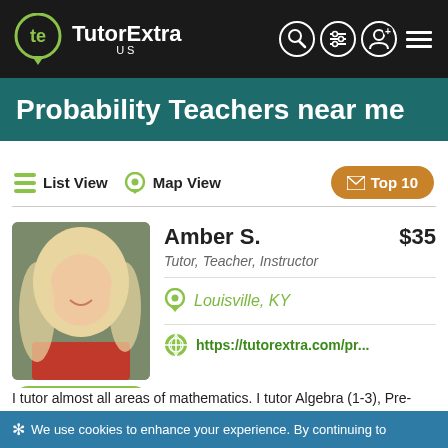TutorExtra US
Probability Teachers near me
List View   Map View   Top 10
Amber S.   $35
Tutor, Teacher, Instructor
Louisville, KY
https://tutorextra.com/pr...
Send Message
I tutor almost all areas of mathematics. I tutor Algebra (1-3), Pre-calculus, Finite Mathematics, Probability, Geometry, and...
✳ We use cookies to enhance your experience. By continuing to